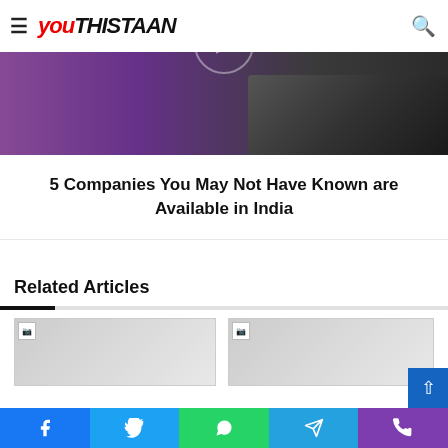Youthistaan
[Figure (photo): Hero banner image showing a purple fabric surface on the left and a dark laptop/device on the right, with a semi-transparent play button circle in the center. Navigation bar with hamburger menu, Youthistaan logo in red/black italic, and search icon overlaid on top.]
5 Companies You May Not Have Known are Available in India
Related Articles
[Figure (photo): Thumbnail image placeholder for a related article (left card)]
[Figure (photo): Thumbnail image placeholder for a related article (right card)]
Facebook | Twitter | WhatsApp | Telegram | Viber share buttons